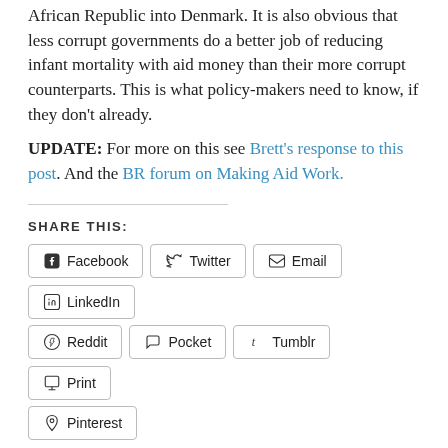African Republic into Denmark. It is also obvious that less corrupt governments do a better job of reducing infant mortality with aid money than their more corrupt counterparts. This is what policy-makers need to know, if they don't already.
UPDATE: For more on this see Brett's response to this post. And the BR forum on Making Aid Work.
SHARE THIS:
Facebook
Twitter
Email
LinkedIn
Reddit
Pocket
Tumblr
Print
Pinterest
Like
Be the first to like this.
Posted in africa | Tagged bill gates, bill gates annual letter 2014, Jeffrey sachs, melinda gates, Millenium Villages, the aid debate, the end of poverty, The